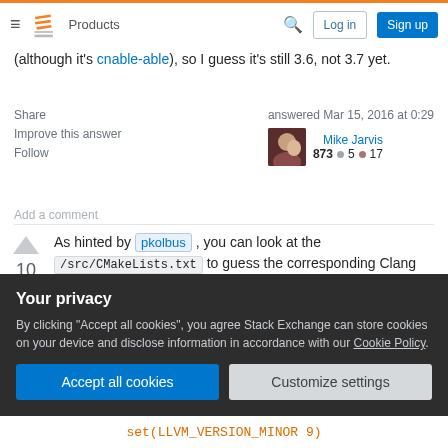Stack Overflow — Products | Log in | Sign up
(although it's cnable-able), so I guess it's still 3.6, not 3.7 yet.
Share  Improve this answer  Follow  |  answered Mar 15, 2016 at 0:29  Mike Jarvis  873 ●5 ●17
Add a comment
As hinted by pkolbus , you can look at the /src/CMakeLists.txt to guess the corresponding Clang version. For example, Apple Clang 800.0.38
Your privacy
By clicking "Accept all cookies", you agree Stack Exchange can store cookies on your device and disclose information in accordance with our Cookie Policy.
Accept all cookies  Customize settings
set(LLVM_VERSION_MINOR 9)